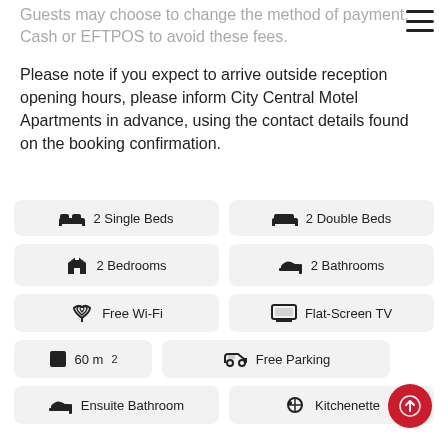Guests may choose to change the method of payment. Cash or EFTPOS to avoid these fees.
Please note if you expect to arrive outside reception opening hours, please inform City Central Motel Apartments in advance, using the contact details found on the booking confirmation.
2 Single Beds
2 Double Beds
2 Bedrooms
2 Bathrooms
Free Wi-Fi
Flat-Screen TV
60 m²
Free Parking
Ensuite Bathroom
Kitchenette